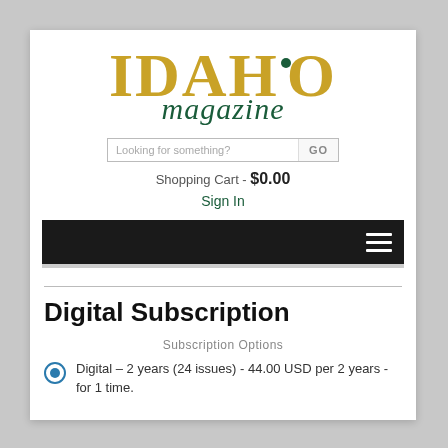[Figure (logo): Idaho Magazine logo with golden serif 'IDAHO' text and green dot, and green italic 'magazine' text below]
Looking for something?   GO
Shopping Cart - $0.00
Sign In
[Figure (screenshot): Black navigation bar with white hamburger menu icon on the right]
Digital Subscription
Subscription Options
Digital – 2 years (24 issues) - 44.00 USD per 2 years - for 1 time.